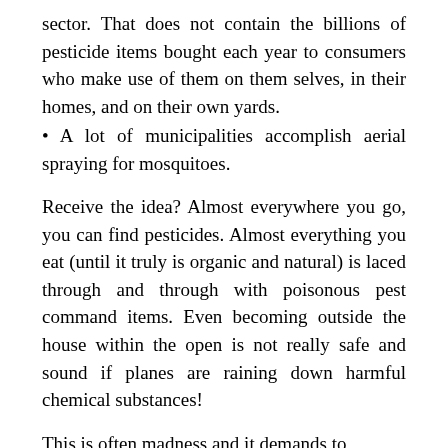sector. That does not contain the billions of pesticide items bought each year to consumers who make use of them on them selves, in their homes, and on their own yards.
• A lot of municipalities accomplish aerial spraying for mosquitoes.
Receive the idea? Almost everywhere you go, you can find pesticides. Almost everything you eat (until it truly is organic and natural) is laced through and through with poisonous pest command items. Even becoming outside the house within the open is not really safe and sound if planes are raining down harmful chemical substances!
This is often madness and it demands to